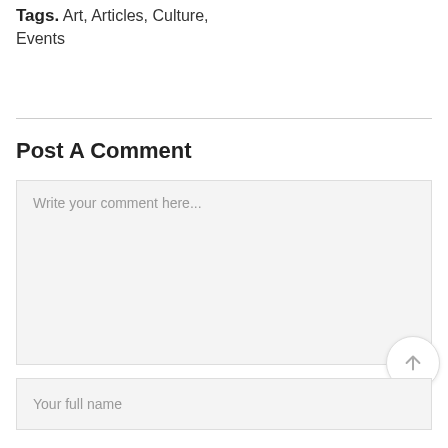Tags. Art, Articles, Culture, Events
Post A Comment
Write your comment here...
Your full name